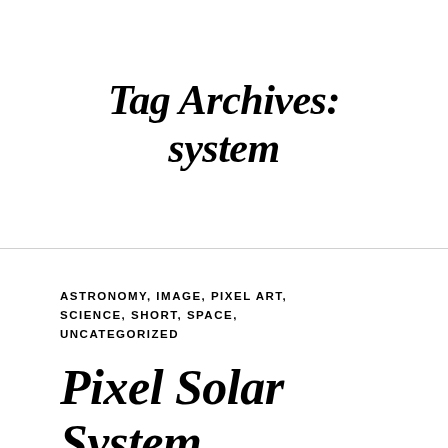Tag Archives: system
ASTRONOMY, IMAGE, PIXEL ART, SCIENCE, SHORT, SPACE, UNCATEGORIZED
Pixel Solar System